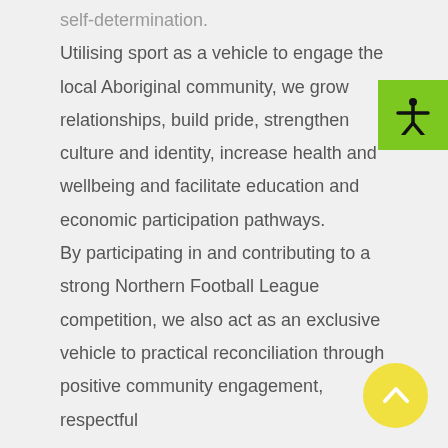self-determination. Utilising sport as a vehicle to engage the local Aboriginal community, we grow relationships, build pride, strengthen culture and identity, increase health and wellbeing and facilitate education and economic participation pathways. By participating in and contributing to a strong Northern Football League competition, we also act as an exclusive vehicle to practical reconciliation through positive community engagement, respectful
[Figure (illustration): Green square button with a black accessibility icon (person with arms outstretched)]
[Figure (illustration): Yellow circular scroll-to-top button with an upward-pointing chevron arrow]